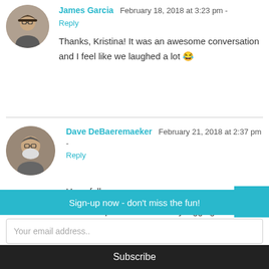[Figure (photo): Circular avatar photo of James Garcia, a man wearing a cap and glasses]
James Garcia   February 18, 2018 at 3:23 pm -
Reply
Thanks, Kristina! It was an awesome conversation and I feel like we laughed a lot 😂
[Figure (photo): Circular avatar photo of Dave DeBaeremaeker, a man with a beard and glasses]
Dave DeBaeremaeker   February 21, 2018 at 2:37 pm -
Reply
Heya folks
Excellent podcast. I am really digging these interviews with my fellow toy
Sign-up now - don't miss the fun!
Your email address..
Subscribe